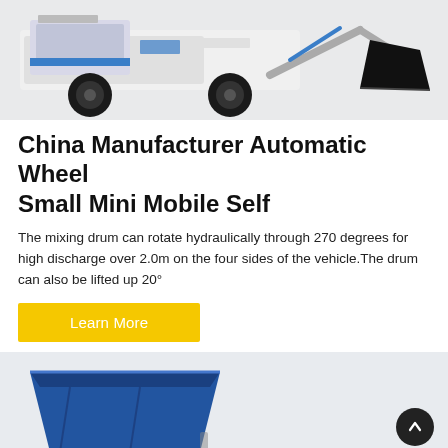[Figure (photo): White and blue wheel loader / compact construction machine with large bucket attachment, photographed on white background]
China Manufacturer Automatic Wheel Small Mini Mobile Self
The mixing drum can rotate hydraulically through 270 degrees for high discharge over 2.0m on the four sides of the vehicle.The drum can also be lifted up 20°
Learn More
[Figure (photo): Blue metal skip/hopper container, partially visible at bottom of page, on light grey background]